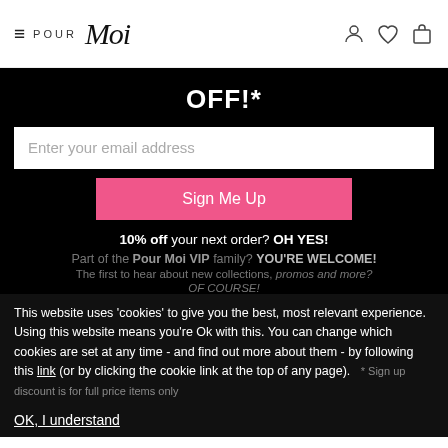Pour Moi — navigation header with hamburger menu, logo, and icons (account, wishlist, bag)
OFF!*
Enter your email address
Sign Me Up
10% off your next order? OH YES!
Part of the Pour Moi VIP family? YOU'RE WELCOME!
The first to hear about new collections, promos and more? OF COURSE!
* Sign up discount is for full price items only
This website uses 'cookies' to give you the best, most relevant experience. Using this website means you're Ok with this. You can change which cookies are set at any time - and find out more about them - by following this link (or by clicking the cookie link at the top of any page).
OK, I understand